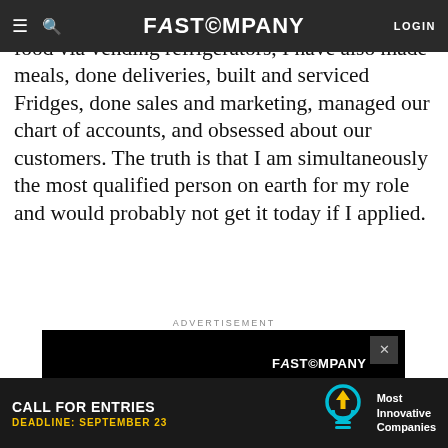FAST COMPANY
company. At Farmer's Fridge, which sells fresh food via vending refrigerators, I have also made meals, done deliveries, built and serviced Fridges, done sales and marketing, managed our chart of accounts, and obsessed about our customers. The truth is that I am simultaneously the most qualified person on earth for my role and would probably not get it today if I applied.
ADVERTISEMENT
[Figure (infographic): Fast Company Most Innovative Companies advertisement with light bulb icon and 'CALL FOR ENTRIES' text on black background]
[Figure (infographic): Sticky bottom banner: CALL FOR ENTRIES Most Innovative Companies DEADLINE: SEPTEMBER 23]